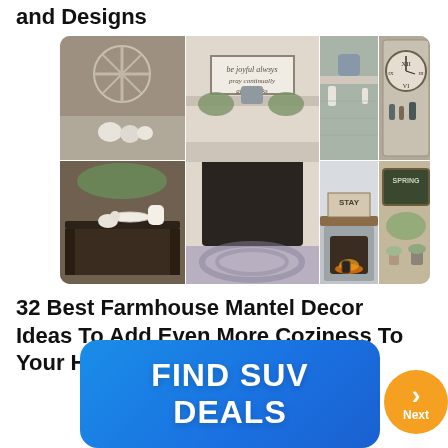and Designs
[Figure (photo): Collage of 7 farmhouse mantel decor photos showing various fireplace mantel arrangements with rustic decorations, pumpkins, clocks, chalkboard signs, greenery, and candles.]
32 Best Farmhouse Mantel Decor Ideas To Add Even More Coziness To Your Home
[Figure (infographic): Orange circular Next button with a right-pointing chevron arrow and label 'Next']
[Figure (infographic): Blue rounded rectangle advertisement button with white bold text reading 'FIND SUV DEALS']